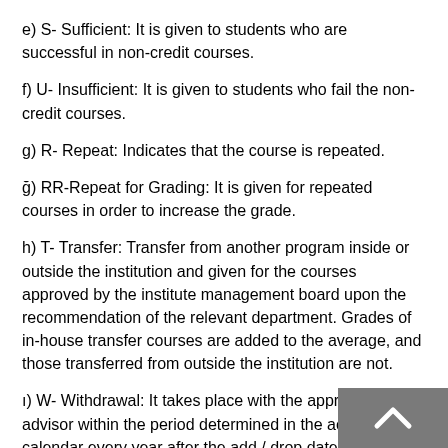e) S- Sufficient: It is given to students who are successful in non-credit courses.
f) U- Insufficient: It is given to students who fail the non-credit courses.
g) R- Repeat: Indicates that the course is repeated.
ğ) RR-Repeat for Grading: It is given for repeated courses in order to increase the grade.
h) T- Transfer: Transfer from another program inside or outside the institution and given for the courses approved by the institute management board upon the recommendation of the relevant department. Grades of in-house transfer courses are added to the average, and those transferred from outside the institution are not.
ı) W- Withdrawal: It takes place with the approval of the advisor within the period determined in the academic calendar every year after the add / drop date.